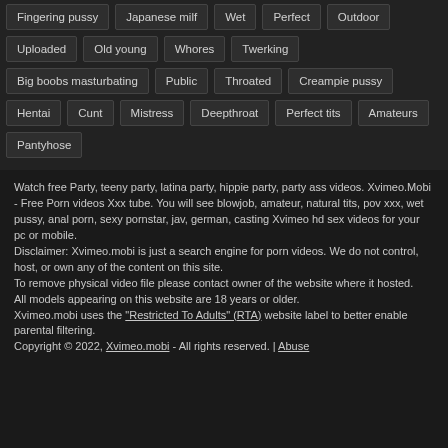Fingering pussy
Japanese milf
Wet
Perfect
Outdoor
Uploaded
Old young
Whores
Twerking
Big boobs masturbating
Public
Throated
Creampie pussy
Hentai
Cunt
Mistress
Deepthroat
Perfect tits
Amateurs
Pantyhose
Watch free Party, teeny party, latina party, hippie party, party ass videos. Xvimeo.Mobi - Free Porn videos Xxx tube. You will see blowjob, amateur, natural tits, pov xxx, wet pussy, anal porn, sexy pornstar, jav, german, casting Xvimeo hd sex videos for your pc or mobile.
Disclaimer: Xvimeo.mobi is just a search engine for porn videos. We do not control, host, or own any of the content on this site.
To remove physical video file please contact owner of the website where it hosted.
All models appearing on this website are 18 years or older.
Xvimeo.mobi uses the "Restricted To Adults" (RTA) website label to better enable parental filtering.
Copyright © 2022, Xvimeo.mobi - All rights reserved. | Abuse